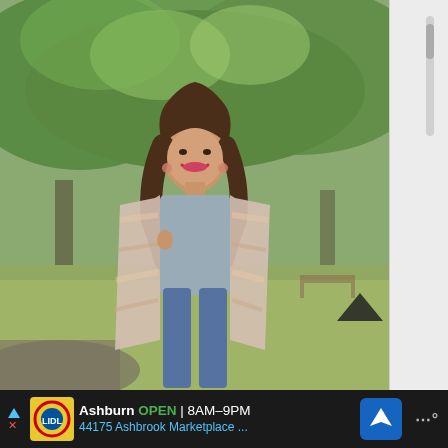[Figure (photo): A smiling woman with long wavy brown hair, wearing a grey cropped tee, plaid duster coat, and blue jeans, standing on a path in a park with lush green trees in the background.]
[Figure (infographic): Advertisement bar at the bottom showing Lidl store icon, text 'Ashburn OPEN 8AM-9PM' and '44175 Ashbrook Marketplace ...' with a navigation arrow icon and a menu dots icon.]